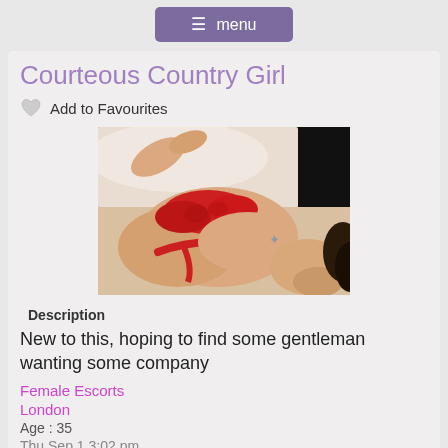☰ menu
Courteous Country Girl
Add to Favourites
[Figure (photo): A person lying on a bed wearing a red bikini/lingerie, with a tattoo visible on their side, photographed from above.]
Description
New to this, hoping to find some gentleman wanting some company
Female Escorts
London
Age : 35
Thu Sep 1 3:02 pm